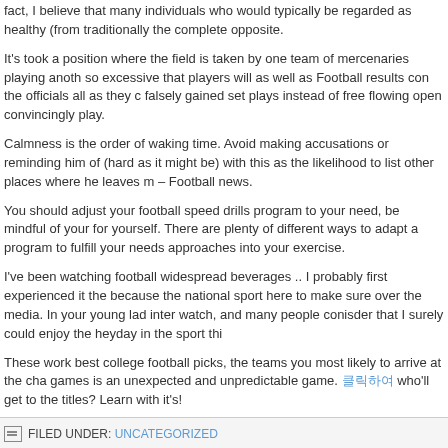fact, I believe that many individuals who would typically be regarded as healthy (from traditionally the complete opposite.
It's took a position where the field is taken by one team of mercenaries playing anoth so excessive that players will as well as Football results con the officials all as they c falsely gained set plays instead of free flowing open convincingly play.
Calmness is the order of waking time. Avoid making accusations or reminding him of (hard as it might be) with this as the likelihood to list other places where he leaves m – Football news.
You should adjust your football speed drills program to your need, be mindful of your for yourself. There are plenty of different ways to adapt a program to fulfill your needs approaches into your exercise.
I've been watching football widespread beverages .. I probably first experienced it the because the national sport here to make sure over the media. In your young lad inter watch, and many people conisder that I surely could enjoy the heyday in the sport thi
These work best college football picks, the teams you most likely to arrive at the cha games is an unexpected and unpredictable game. 클릭하여 who'll get to the titles? Learn with it's!
FILED UNDER: UNCATEGORIZED